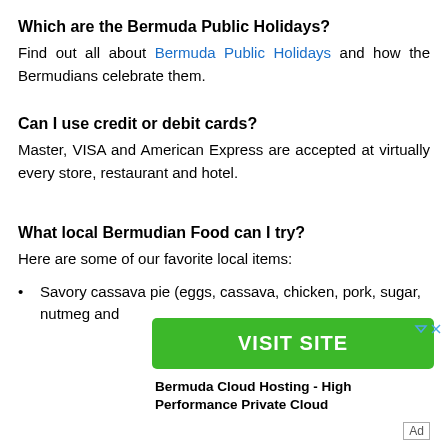Which are the Bermuda Public Holidays?
Find out all about Bermuda Public Holidays and how the Bermudians celebrate them.
Can I use credit or debit cards?
Master, VISA and American Express are accepted at virtually every store, restaurant and hotel.
What local Bermudian Food can I try?
Here are some of our favorite local items:
Savory cassava pie (eggs, cassava, chicken, pork, sugar, nutmeg and
[Figure (other): Advertisement banner with green VISIT SITE button and ad icons]
Bermuda Cloud Hosting - High Performance Private Cloud
Ad